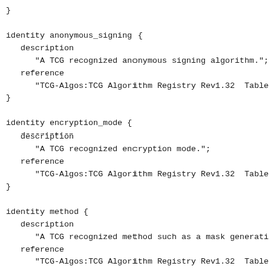}

identity anonymous_signing {
   description
      "A TCG recognized anonymous signing algorithm.";
   reference
      "TCG-Algos:TCG Algorithm Registry Rev1.32  Table
}

identity encryption_mode {
   description
      "A TCG recognized encryption mode.";
   reference
      "TCG-Algos:TCG Algorithm Registry Rev1.32  Table
}

identity method {
   description
      "A TCG recognized method such as a mask generati
   reference
      "TCG-Algos:TCG Algorithm Registry Rev1.32  Table
}

identity object_type {
   description
      "A TCG recognized object type.";
   reference
      "TCG-Algos:TCG Algorithm Registry Rev1.32  Table
}